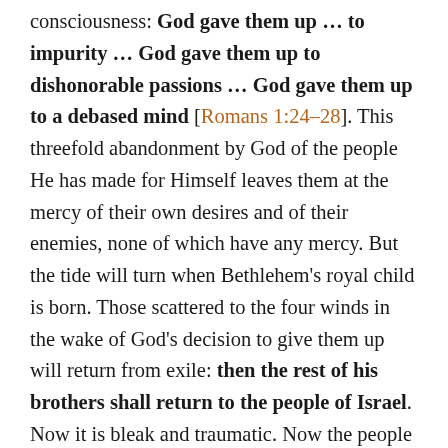consciousness: God gave them up … to impurity … God gave them up to dishonorable passions … God gave them up to a debased mind [Romans 1:24–28]. This threefold abandonment by God of the people He has made for Himself leaves them at the mercy of their own desires and of their enemies, none of which have any mercy. But the tide will turn when Bethlehem's royal child is born. Those scattered to the four winds in the wake of God's decision to give them up will return from exile: then the rest of his brothers shall return to the people of Israel. Now it is bleak and traumatic. Now the people of God are facing disintegration. But when God's true ruler emerges from the little town of Bethlehem, God's family will be together again, united around their new head. The word return has the sense of being